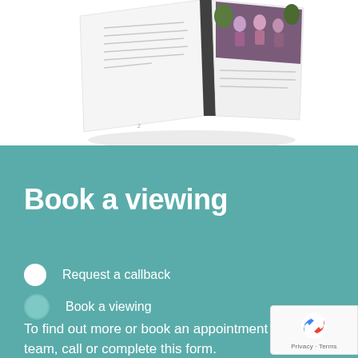[Figure (photo): An open brochure/booklet seen from an angle, showing interior pages with text and a photo of people on the right page.]
Book a viewing
Request a callback
Book a viewing
To find out more or book an appointment with our team, call or complete this form.